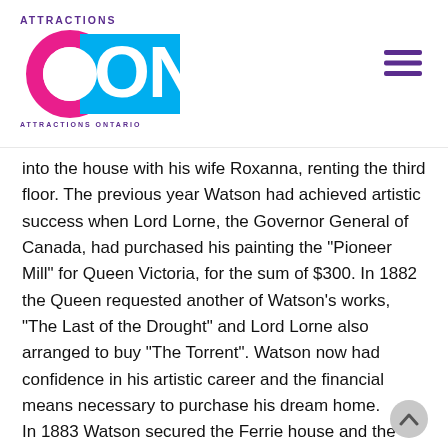ATTRACTIONS ON — Attractions Ontario logo with hamburger menu
into the house with his wife Roxanna, renting the third floor. The previous year Watson had achieved artistic success when Lord Lorne, the Governor General of Canada, had purchased his painting the "Pioneer Mill" for Queen Victoria, for the sum of $300. In 1882 the Queen requested another of Watson's works, "The Last of the Drought" and Lord Lorne also arranged to buy "The Torrent". Watson now had confidence in his artistic career and the financial means necessary to purchase his dream home.
In 1883 Watson secured the Ferrie house and the two and three quarters acres upon which it was situated. The house would remain Watson's home for the remainder of his life. By 1893 the painter had added a studio, which featured a frieze displaying the names of the artists he most admired and included a small painting in each artist's style. The year 1906 saw more changes to the house, when a gallery, designed with classical "harmonic